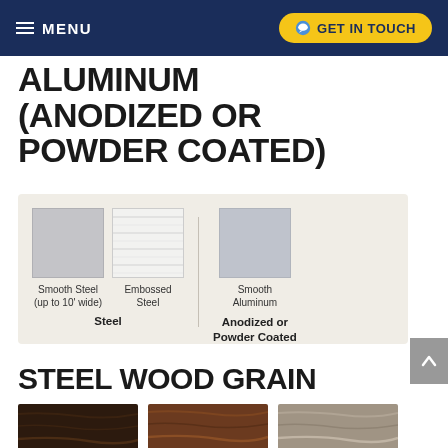MENU | GET IN TOUCH
ALUMINUM (ANODIZED OR POWDER COATED)
[Figure (illustration): Material swatch panel showing three samples: Smooth Steel (up to 10' wide) and Embossed Steel under 'Steel' category, and Smooth Aluminum under 'Anodized or Powder Coated' category]
STEEL WOOD GRAIN
[Figure (illustration): Three wood grain steel finish swatches: dark espresso/walnut, medium walnut/chestnut, and light gray/weathered wood]